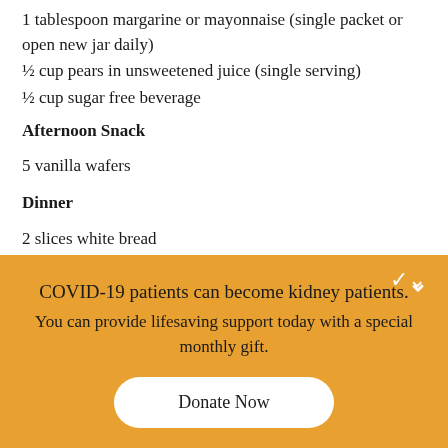1 tablespoon margarine or mayonnaise (single packet or open new jar daily)
½ cup pears in unsweetened juice (single serving)
½ cup sugar free beverage
Afternoon Snack
5 vanilla wafers
Dinner
2 slices white bread
COVID-19 patients can become kidney patients. You can provide lifesaving support today with a special monthly gift.
Donate Now